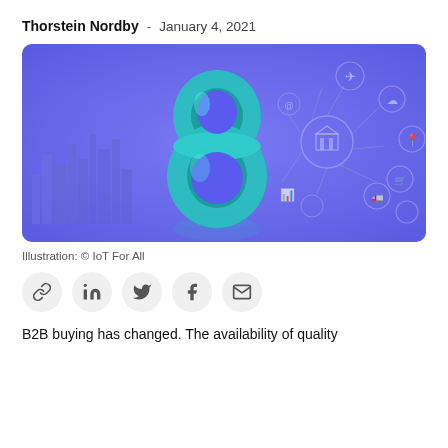Thorstein Nordby - January 4, 2021
[Figure (illustration): 3D teal metallic number 8 on a purple background with IoT network icons (airplane, cloud, location pin, shopping cart, truck, chart, factory, warning) arranged in a circular network diagram. City skyline visible in background.]
Illustration: © IoT For All
B2B buying has changed. The availability of quality